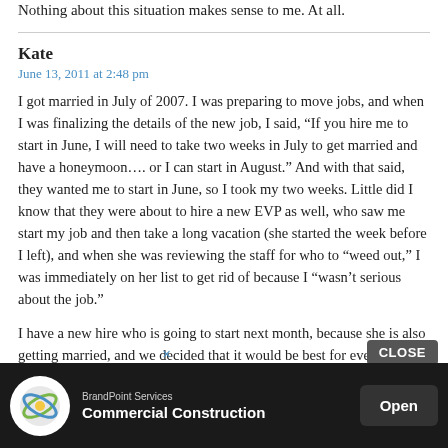Nothing about this situation makes sense to me. At all.
Kate
June 13, 2011 at 2:48 pm
I got married in July of 2007. I was preparing to move jobs, and when I was finalizing the details of the new job, I said, “If you hire me to start in June, I will need to take two weeks in July to get married and have a honeymoon…. or I can start in August.” And with that said, they wanted me to start in June, so I took my two weeks. Little did I know that they were about to hire a new EVP as well, who saw me start my job and then take a long vacation (she started the week before I left), and when she was reviewing the staff for who to “weed out,” I was immediately on her list to get rid of because I “wasn’t serious about the job.”
I have a new hire who is going to start next month, because she is also getting married, and we decided that it would be best for everyone if she just started after the wedding to avoid any start/stop... her being u...
[Figure (screenshot): Advertisement overlay with CLOSE button and BrandPoint Services Commercial Construction ad banner with Open button]